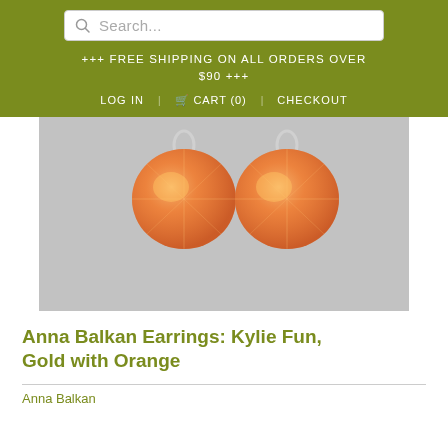Search...  +++ FREE SHIPPING ON ALL ORDERS OVER $90 +++  LOG IN  CART (0)  CHECKOUT
[Figure (photo): Two orange faceted gemstone/crystal beads with silver bail hooks, photographed on a gray background. These are the Kylie Fun earring components.]
Anna Balkan Earrings: Kylie Fun, Gold with Orange
Anna Balkan